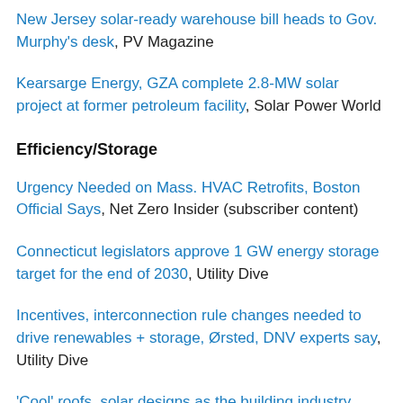New Jersey solar-ready warehouse bill heads to Gov. Murphy's desk, PV Magazine
Kearsarge Energy, GZA complete 2.8-MW solar project at former petroleum facility, Solar Power World
Efficiency/Storage
Urgency Needed on Mass. HVAC Retrofits, Boston Official Says, Net Zero Insider (subscriber content)
Connecticut legislators approve 1 GW energy storage target for the end of 2030, Utility Dive
Incentives, interconnection rule changes needed to drive renewables + storage, Ørsted, DNV experts say, Utility Dive
'Cool' roofs, solar designs as the building industry…